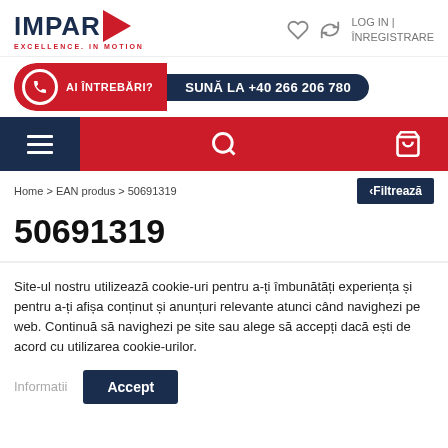[Figure (logo): IMPAR logo with red chevron arrow and tagline EXCELLENCE. IN MOTION]
LOG IN | ÎNREGISTRARE
[Figure (infographic): Phone banner with red circle phone icon, text AI ÎNTREBĂRI? SUNĂ LA +40 266 206 780 on dark navy background]
[Figure (screenshot): Navigation bar with dark navy hamburger menu on left, red search icon center, red cart icon right]
Home > EAN produs > 50691319
‹Filtrează
50691319
Site-ul nostru utilizează cookie-uri pentru a-ți îmbunătăți experiența și pentru a-ți afișa conținut și anunțuri relevante atunci când navighezi pe web. Continuă să navighezi pe site sau alege să accepți dacă ești de acord cu utilizarea cookie-urilor.
Informatii
Accept